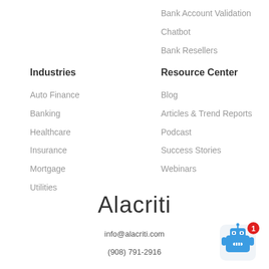Bank Account Validation
Chatbot
Bank Resellers
Industries
Auto Finance
Banking
Healthcare
Insurance
Mortgage
Utilities
Resource Center
Blog
Articles & Trend Reports
Podcast
Success Stories
Webinars
Alacriti
info@alacriti.com
(908) 791-2916
[Figure (illustration): Blue chatbot robot icon with red notification badge showing 1]